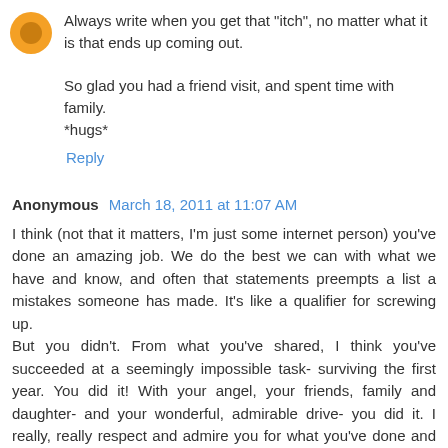Always write when you get that "itch", no matter what it is that ends up coming out.

So glad you had a friend visit, and spent time with family. *hugs*
Reply
Anonymous March 18, 2011 at 11:07 AM
I think (not that it matters, I'm just some internet person) you've done an amazing job. We do the best we can with what we have and know, and often that statements preempts a list a mistakes someone has made. It's like a qualifier for screwing up.
But you didn't. From what you've shared, I think you've succeeded at a seemingly impossible task- surviving the first year. You did it! With your angel, your friends, family and daughter- and your wonderful, admirable drive- you did it. I really, really respect and admire you for what you've done and your will to share it with us. Thank you, and God Bless.